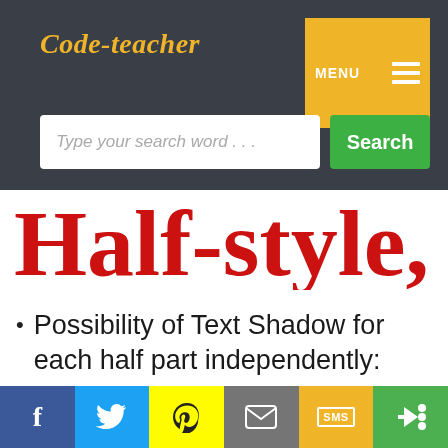Code-teacher
Type your search word...
Half-style, p
Possibility of Text Shadow for each half part independently:
f  [twitter]  [snapchat]  [mail]  SMS  [share]